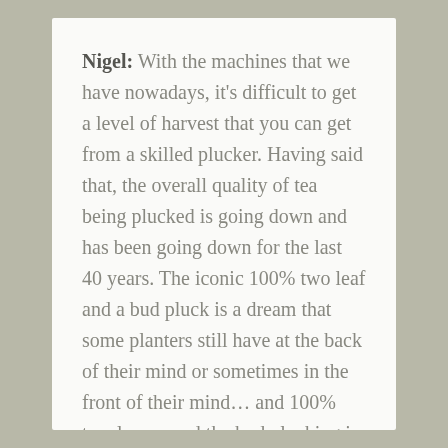Nigel: With the machines that we have nowadays, it's difficult to get a level of harvest that you can get from a skilled plucker. Having said that, the overall quality of tea being plucked is going down and has been going down for the last 40 years. The iconic 100% two leaf and a bud pluck is a dream that some planters still have at the back of their mind or sometimes in the front of their mind… and 100% two leaves and the bud plucking is possible, but it's slow, it's slow.
And when you were paying only